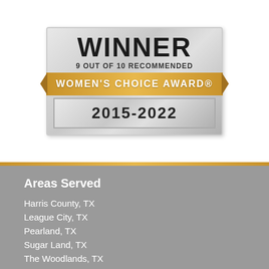[Figure (logo): Women's Choice Award badge - Winner 9 Out of 10 Recommended, 2015-2022]
Areas Served
Harris County, TX
League City, TX
Pearland, TX
Sugar Land, TX
The Woodlands, TX
View More
Helpful Links